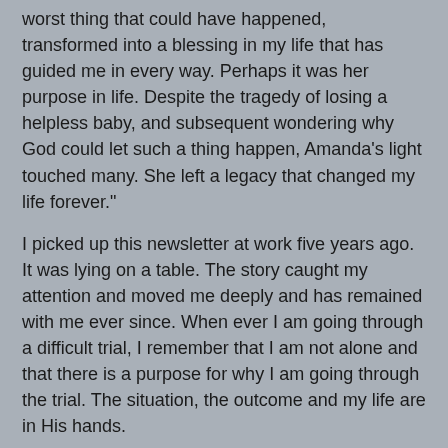worst thing that could have happened, transformed into a blessing in my life that has guided me in every way. Perhaps it was her purpose in life. Despite the tragedy of losing a helpless baby, and subsequent wondering why God could let such a thing happen, Amanda's light touched many. She left a legacy that changed my life forever."
I picked up this newsletter at work five years ago. It was lying on a table. The story caught my attention and moved me deeply and has remained with me ever since. When ever I am going through a difficult trial, I remember that I am not alone and that there is a purpose for why I am going through the trial. The situation, the outcome and my life are in His hands.
To reflect on this message by listening to a song (His Hands) that has inspired me recently click here.
PHOTO CAPTION: "Photo Courtesy Photos8.com."
Share / Save